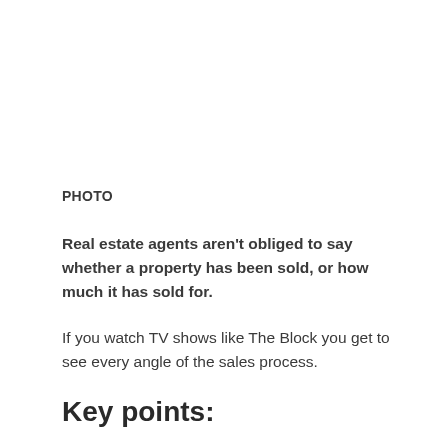PHOTO
Real estate agents aren't obliged to say whether a property has been sold, or how much it has sold for.
If you watch TV shows like The Block you get to see every angle of the sales process.
Key points: